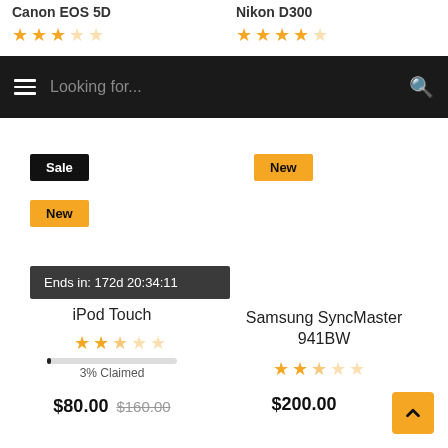Canon EOS 5D
[Figure (other): Star rating: 3.5 out of 5 stars for Canon EOS 5D]
Nikon D300
[Figure (other): Star rating: 3.5 out of 5 stars for Nikon D300]
[Figure (screenshot): Navigation bar with hamburger menu, search field 'Looking for...' and search icon]
Sale
New
New
Ends in: 172d 20:34:11
iPod Touch
[Figure (other): Star rating: 2.5 out of 5 stars for iPod Touch]
3% Claimed
$80.00 $160.00
Samsung SyncMaster 941BW
[Figure (other): Star rating: 2.5 out of 5 stars for Samsung SyncMaster 941BW]
$200.00